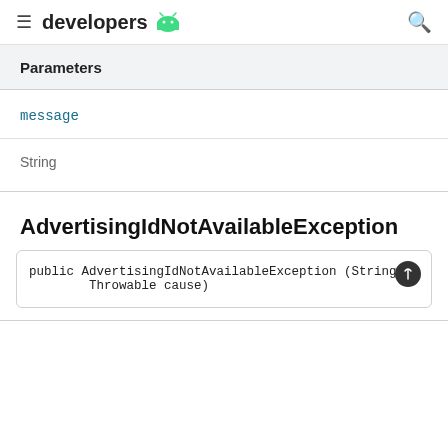developers
Parameters
message
String
AdvertisingIdNotAvailableException
public AdvertisingIdNotAvailableException (String me
    Throwable cause)